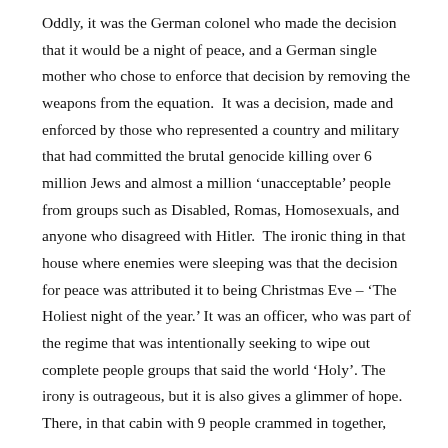Oddly, it was the German colonel who made the decision that it would be a night of peace, and a German single mother who chose to enforce that decision by removing the weapons from the equation.  It was a decision, made and enforced by those who represented a country and military that had committed the brutal genocide killing over 6 million Jews and almost a million ‘unacceptable’ people from groups such as Disabled, Romas, Homosexuals, and anyone who disagreed with Hitler.  The ironic thing in that house where enemies were sleeping was that the decision for peace was attributed it to being Christmas Eve – ‘The Holiest night of the year.’ It was an officer, who was part of the regime that was intentionally seeking to wipe out complete people groups that said the world ‘Holy’. The irony is outrageous, but it is also gives a glimmer of hope. There, in that cabin with 9 people crammed in together,